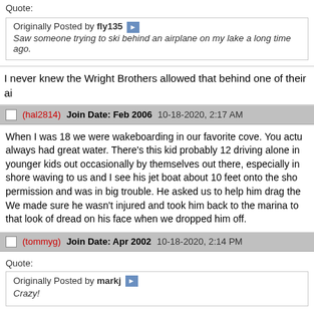Quote:
Originally Posted by fly135
Saw someone trying to ski behind an airplane on my lake a long time ago.
I never knew the Wright Brothers allowed that behind one of their ai
(hal2814)  Join Date: Feb 2006  10-18-2020, 2:17 AM
When I was 18 we were wakeboarding in our favorite cove. You actu always had great water. There's this kid probably 12 driving alone in younger kids out occasionally by themselves out there, especially in shore waving to us and I see his jet boat about 10 feet onto the sho permission and was in big trouble. He asked us to help him drag the We made sure he wasn't injured and took him back to the marina to that look of dread on his face when we dropped him off.
(tommyg)  Join Date: Apr 2002  10-18-2020, 2:14 PM
Quote:
Originally Posted by markj
Crazy!
Hard to tell, but looks like an Icon A5, same aircraft Roy Halladay, fo
(phil06140)  Join Date: Jul 2004  10-19-2020, 12:20 PM
I saw a cop boat accidently clip another boat at speed earlier this ye
We were on my friend's boat by the Lake Austin Marina where they